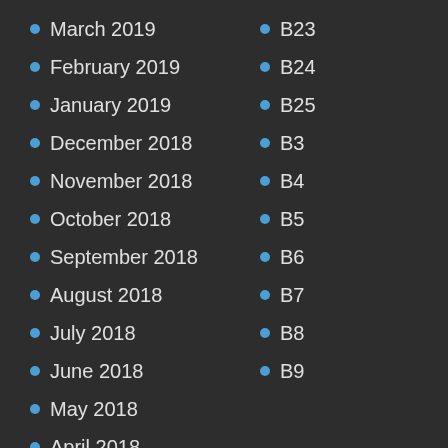March 2019
B23
February 2019
B24
January 2019
B25
December 2018
B3
November 2018
B4
October 2018
B5
September 2018
B6
August 2018
B7
July 2018
B8
June 2018
B9
May 2018
April 2018
March 2018